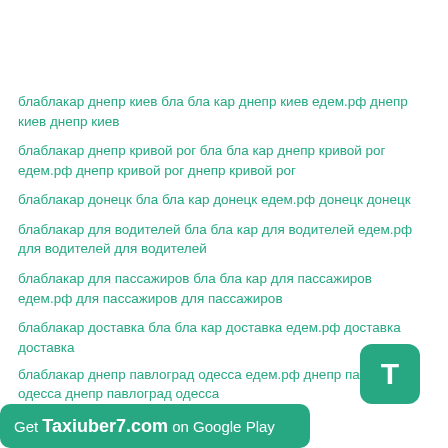блаблакар днепр киев бла бла кар днепр киев едем.рф днепр киев днепр киев
блаблакар днепр кривой рог бла бла кар днепр кривой рог едем.рф днепр кривой рог днепр кривой рог
блаблакар донецк бла бла кар донецк едем.рф донецк донецк
блаблакар для водителей бла бла кар для водителей едем.рф для водителей для водителей
блаблакар для пассажиров бла бла кар для пассажиров едем.рф для пассажиров для пассажиров
блаблакар доставка бла бла кар доставка едем.рф доставка доставка
блаблакар днепр павлоград одесса едем.рф днепр павлоград одесса днепр павлоград одесса
[Figure (logo): Green rounded rectangle banner: Get Taxiuber7.com on Google Play]
[Figure (logo): Green T badge icon]